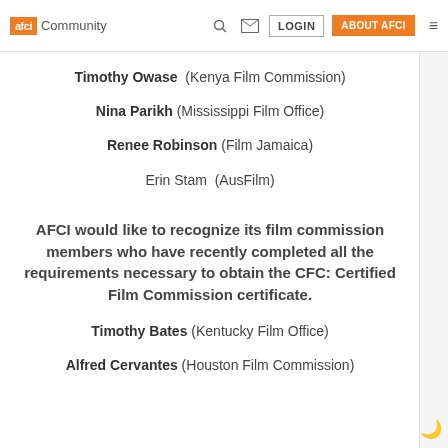afci Community | LOGIN | ABOUT AFCI
Timothy Owase (Kenya Film Commission)
Nina Parikh (Mississippi Film Office)
Renee Robinson (Film Jamaica)
Erin Stam (AusFilm)
AFCI would like to recognize its film commission members who have recently completed all the requirements necessary to obtain the CFC: Certified Film Commission certificate.
Timothy Bates (Kentucky Film Office)
Alfred Cervantes (Houston Film Commission)